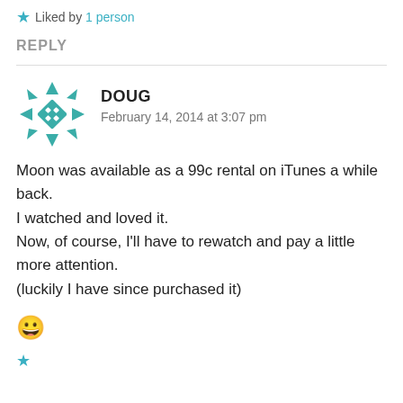★ Liked by 1 person
REPLY
[Figure (illustration): Teal/green geometric snowflake avatar icon for user Doug]
DOUG
February 14, 2014 at 3:07 pm
Moon was available as a 99c rental on iTunes a while back.
I watched and loved it.
Now, of course, I'll have to rewatch and pay a little more attention.
(luckily I have since purchased it)
😀
★